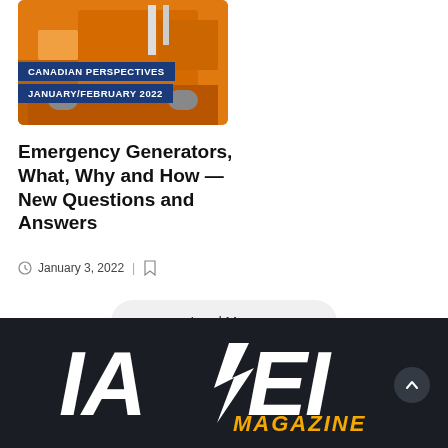[Figure (photo): Orange vehicle/generator equipment photo with blue badge overlays reading 'CANADIAN PERSPECTIVES' and 'JANUARY/FEBRUARY 2022']
Emergency Generators, What, Why and How — New Questions and Answers
January 3, 2022
Load More
[Figure (logo): IAEI MAGAZINE logo in white and yellow italic bold lettering on dark background]